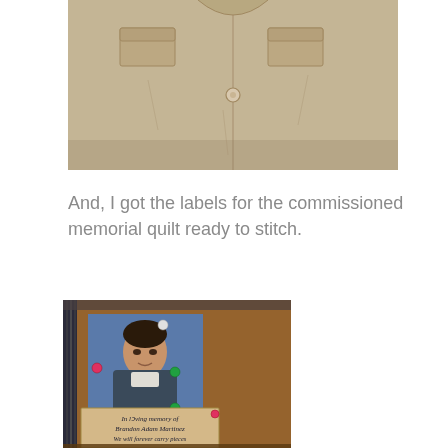[Figure (photo): Close-up photo of a light beige/khaki button-up shirt with chest pockets, laid flat on a surface.]
And, I got the labels for the commissioned memorial quilt ready to stitch.
[Figure (photo): Photo of a memorial quilt label pinned to a brown/orange fabric background. The label shows a school portrait photo of a young man and a handwritten note reading 'In loving memory of Brandon Adam Martinez We will forever carry pieces ... in our hearts'.]